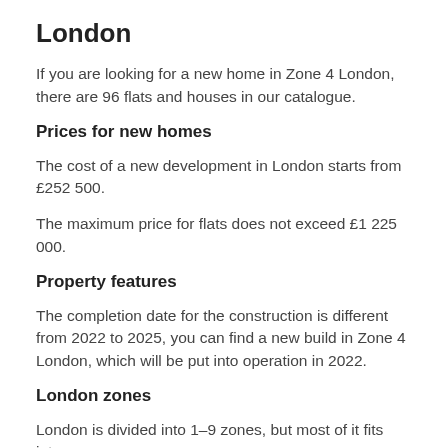London
If you are looking for a new home in Zone 4 London, there are 96 flats and houses in our catalogue.
Prices for new homes
The cost of a new development in London starts from £252 500.
The maximum price for flats does not exceed £1 225 000.
Property features
The completion date for the construction is different from 2022 to 2025, you can find a new build in Zone 4 London, which will be put into operation in 2022.
London zones
London is divided into 1–9 zones, but most of it fits into